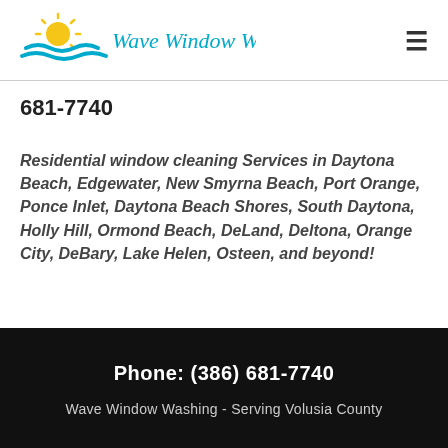[Figure (logo): Wave Window Washing logo with sun and waves icon and teal italic script text]
681-7740
Residential window cleaning Services in Daytona Beach, Edgewater, New Smyrna Beach, Port Orange, Ponce Inlet, Daytona Beach Shores, South Daytona, Holly Hill, Ormond Beach, DeLand, Deltona, Orange City, DeBary, Lake Helen, Osteen, and beyond!
Phone: (386) 681-7740
Wave Window Washing - Serving Volusia County